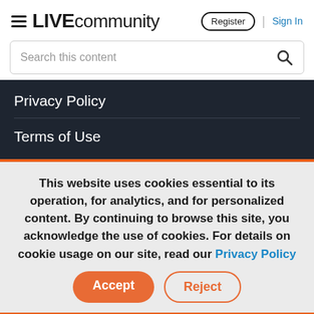LIVE community | Register | Sign In
Search this content
Privacy Policy
Terms of Use
This website uses cookies essential to its operation, for analytics, and for personalized content. By continuing to browse this site, you acknowledge the use of cookies. For details on cookie usage on our site, read our Privacy Policy
Accept | Reject